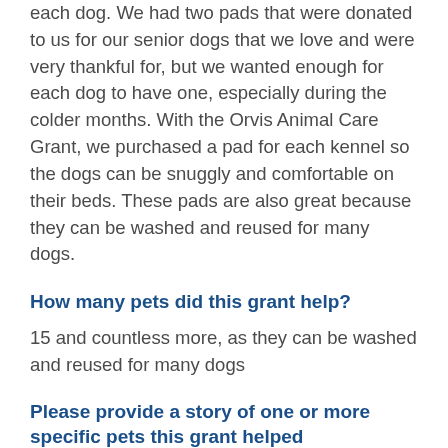each dog. We had two pads that were donated to us for our senior dogs that we love and were very thankful for, but we wanted enough for each dog to have one, especially during the colder months. With the Orvis Animal Care Grant, we purchased a pad for each kennel so the dogs can be snuggly and comfortable on their beds. These pads are also great because they can be washed and reused for many dogs.
How many pets did this grant help?
15 and countless more, as they can be washed and reused for many dogs
Please provide a story of one or more specific pets this grant helped